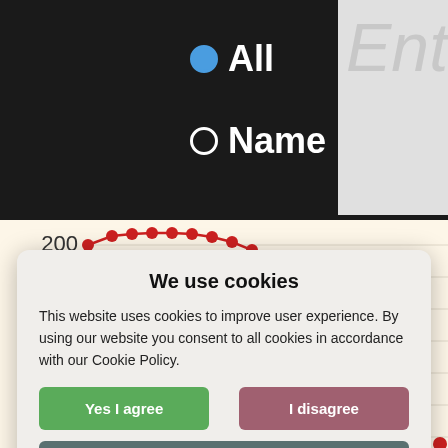[Figure (screenshot): Web interface with radio buttons: 'All' (selected, blue) and 'Name' (unselected, white), and a text entry box partially visible on the right]
[Figure (continuous-plot): Line chart with red dots on a cream/beige background showing values on Y-axis: 200, 400, 600, 800, 1000, 1200, 1400. Line rises then falls steeply and continues downward.]
We use cookies
This website uses cookies to improve user experience. By using our website you consent to all cookies in accordance with our Cookie Policy.
Yes I agree
I disagree
Read more
Free cookie consent by cookie-script.com